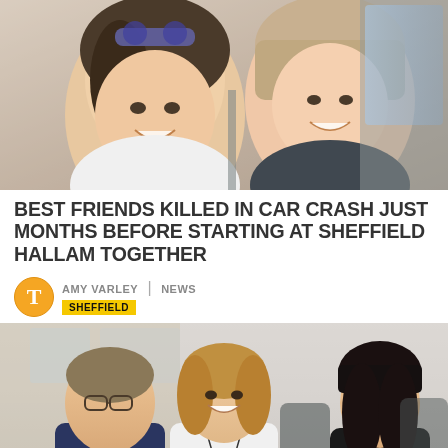[Figure (photo): Two young women smiling, photographed inside a car, one wearing sunglasses on her head]
BEST FRIENDS KILLED IN CAR CRASH JUST MONTHS BEFORE STARTING AT SHEFFIELD HALLAM TOGETHER
AMY VARLEY | NEWS
SHEFFIELD
[Figure (photo): People sitting around a conference table in a meeting room, including a man in a suit and two women]
SHEFFIELD HALLAM IS AWARDING FORMER